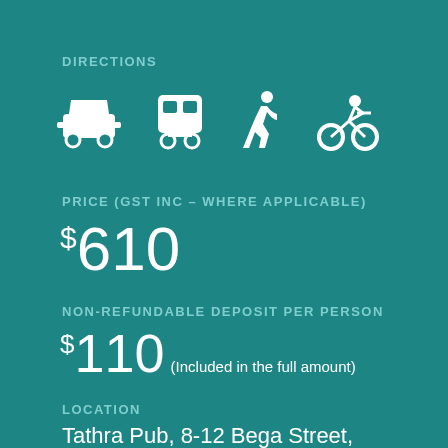DIRECTIONS
[Figure (infographic): Four white transport icons: car, bus/train, walking person, cyclist]
PRICE (GST INC – WHERE APPLICABLE)
$610
NON-REFUNDABLE DEPOSIT PER PERSON
$110 (Included in the full amount)
LOCATION
Tathra Pub, 8-12 Bega Street, Tathra, Tathra NSW 2550, Australia